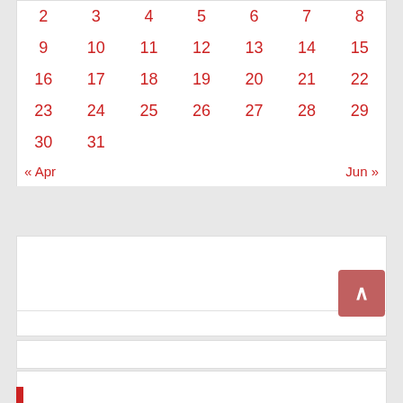| Sun | Mon | Tue | Wed | Thu | Fri | Sat |
| --- | --- | --- | --- | --- | --- | --- |
| 2 | 3 | 4 | 5 | 6 | 7 | 8 |
| 9 | 10 | 11 | 12 | 13 | 14 | 15 |
| 16 | 17 | 18 | 19 | 20 | 21 | 22 |
| 23 | 24 | 25 | 26 | 27 | 28 | 29 |
| 30 | 31 |  |  |  |  |  |
« Apr
Jun »